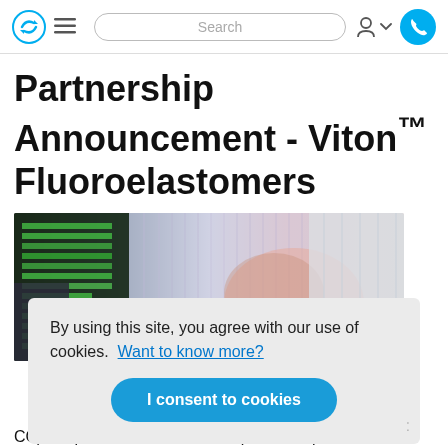Navigation bar with logo, hamburger menu, search field, user icon, and phone button
Partnership Announcement - Viton™ Fluoroelastomers
[Figure (photo): Hero image showing a business handshake with green digital display panels in background and pink/blue light effects]
By using this site, you agree with our use of cookies. Want to know more?
I consent to cookies
CC) are pleased to announce a partnership